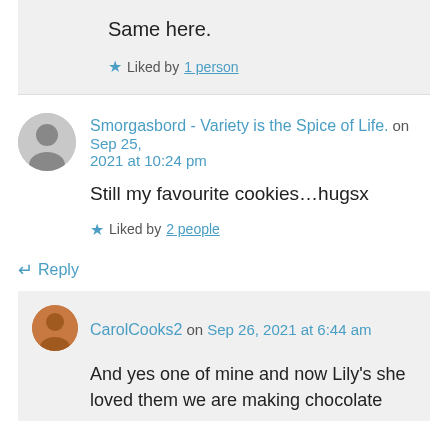Same here.
★ Liked by 1 person
Smorgasbord - Variety is the Spice of Life. on Sep 25, 2021 at 10:24 pm
Still my favourite cookies…hugsx
★ Liked by 2 people
↵ Reply
CarolCooks2 on Sep 26, 2021 at 6:44 am
And yes one of mine and now Lily's she loved them we are making chocolate